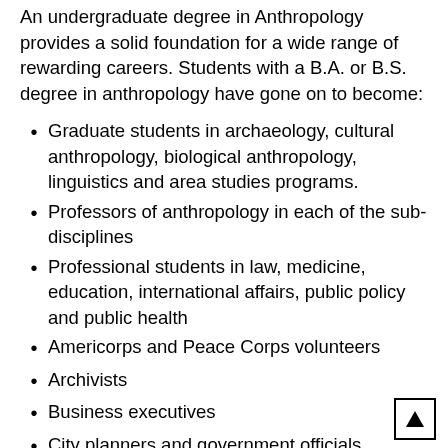An undergraduate degree in Anthropology provides a solid foundation for a wide range of rewarding careers. Students with a B.A. or B.S. degree in anthropology have gone on to become:
Graduate students in archaeology, cultural anthropology, biological anthropology, linguistics and area studies programs.
Professors of anthropology in each of the sub-disciplines
Professional students in law, medicine, education, international affairs, public policy and public health
Americorps and Peace Corps volunteers
Archivists
Business executives
City planners and government officials
College librarians
Field archaeologists
Cultural affairs directors